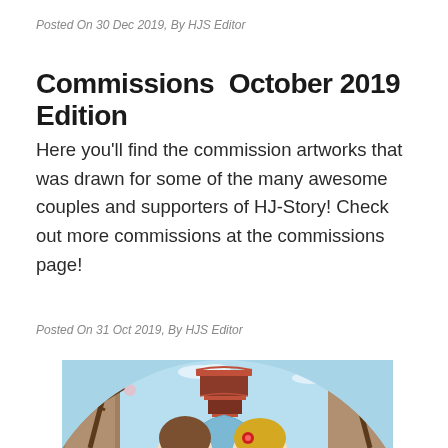Posted On 30 Dec 2019, By HJS Editor
Commissions October 2019 Edition
Here you'll find the commission artworks that was drawn for some of the many awesome couples and supporters of HJ-Story! Check out more commissions at the commissions page!
Posted On 31 Oct 2019, By HJS Editor
[Figure (illustration): Circular illustrated artwork showing two chibi-style characters (a boy with brown hair and a girl with blonde hair and red flower) in a Japanese street scene with cherry blossom trees, a river, traditional buildings, and a pagoda in the background.]